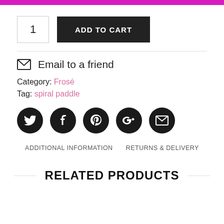1  ADD TO CART
✉ Email to a friend
Category: Frosé
Tag: spiral paddle
[Figure (infographic): Row of 5 social media icon circles (Twitter, Facebook, Pinterest, Google+, Email) in black.]
ADDITIONAL INFORMATION   RETURNS & DELIVERY
RELATED PRODUCTS